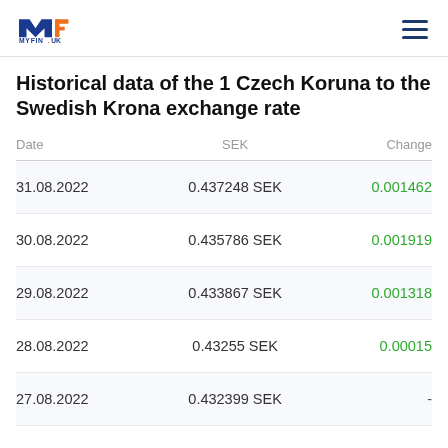MYFIN.UK
Historical data of the 1 Czech Koruna to the Swedish Krona exchange rate
| Date | SEK | Change |
| --- | --- | --- |
| 31.08.2022 | 0.437248 SEK | 0.001462 |
| 30.08.2022 | 0.435786 SEK | 0.001919 |
| 29.08.2022 | 0.433867 SEK | 0.001318 |
| 28.08.2022 | 0.43255 SEK | 0.00015 |
| 27.08.2022 | 0.432399 SEK | - |